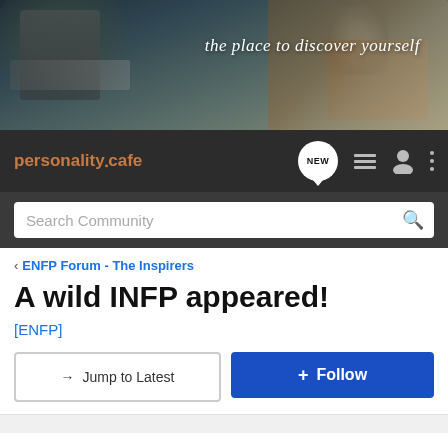[Figure (screenshot): Hero banner with blurred cafe/workspace photo background and italic tagline text 'the place to discover yourself']
personality cafe — navigation bar with NEW badge, list icon, user icon, and options icon
Search Community
< ENFP Forum - The Inspirers
A wild INFP appeared!
[ENFP]
→ Jump to Latest
Follow
Do you like INFP's?